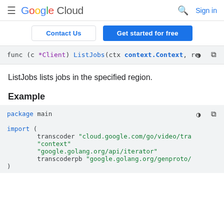Google Cloud  Sign in
Contact Us  Get started for free
[Figure (screenshot): Code snippet: func (c *Client) ListJobs(ctx context.Context, re]
ListJobs lists jobs in the specified region.
Example
[Figure (screenshot): Go code block: package main, import with transcoder, context, google.golang.org/api/iterator, transcoderpb]